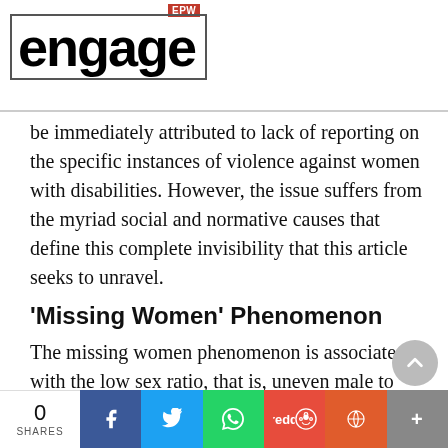EPW engage
be immediately attributed to lack of reporting on the specific instances of violence against women with disabilities. However, the issue suffers from the myriad social and normative causes that define this complete invisibility that this article seeks to unravel.
'Missing Women' Phenomenon
The missing women phenomenon is associated with the low sex ratio, that is, uneven male to female ratios show that
0 SHARES | social share buttons: Facebook, Twitter, WhatsApp, Reddit, Pocket, More